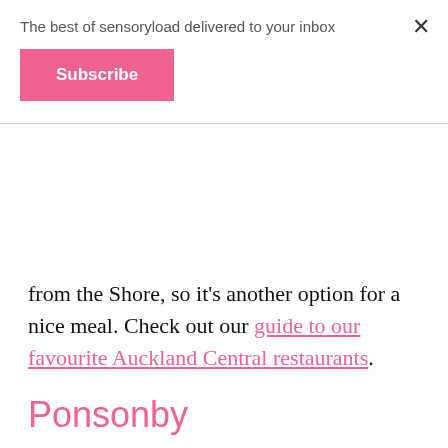The best of sensoryload delivered to your inbox
Subscribe
from the Shore, so it's another option for a nice meal. Check out our guide to our favourite Auckland Central restaurants.
Ponsonby
Heading further afield? Our Ponsonby guide for gluten free cafes and restaurants helps you uncover the best spots for coeliacs among the hundreds of options in Auckland's hippest